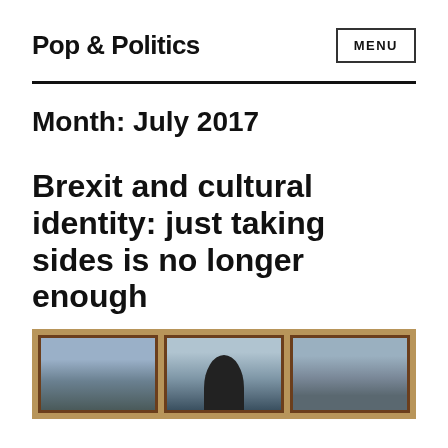Pop & Politics
Month: July 2017
Brexit and cultural identity: just taking sides is no longer enough
[Figure (photo): Photograph of framed pictures on a wooden wall with a person partially visible]